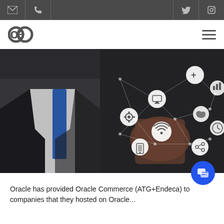[Top navigation bar with email, phone, Twitter, LinkedIn icons]
[Figure (logo): OE logo — two overlapping circles forming 'oe' letterform in dark gray]
[Figure (photo): Businessperson in suit and blue tie holding a glowing network of connected technology icons (WiFi, cloud, mobile, chart, gear, share, clock, monitor) against a dark digital background]
Oracle has provided Oracle Commerce (ATG+Endeca) to companies that they hosted on Oracle...